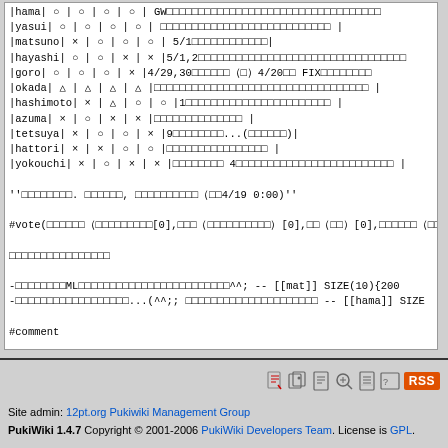| |hama| | ○ | | | ○ | | | ○ | | | ○ | | | GW□□□□□□□□□□□□□□□□□□□□□□□□□□□□□□□□ |
| |yasui| | ○ | | | ○ | | | ○ | | | ○ | | | □□□□□□□□□□□□□□□□□□□□□□□□□□□ | |
| |matsuno| | × | | | ○ | | | ○ | | | ○ | | | 5/1□□□□□□□□□□□□| |
| |hayashi| | ○ | | | ○ | | | × | | | × | |5/1,2□□□□□□□□□□□□□□□□□□□□□□□□□□□□□□ |
| |goro| | ○ | | | ○ | | | ○ | | | × | |4/29,30□□□□□（□）4/20□□ FIX□□□□□□□□ |
| |okada| | △ | | | △ | | | △ | | | △ | |□□□□□□□□□□□□□□□□□□□□□□□□□□□□□□□□ | |
| |hashimoto| | × | | | △ | | | ○ | | | ○ | |1□□□□□□□□□□□□□□□□□□□□□□ | |
| |azuma| | × | | | ○ | | | × | | | × | |□□□□□□□□□□□□□ | |
| |tetsuya| | × | | | ○ | | | ○ | | | × | |9□□□□□□□□...(□□□□□□)| |
| |hattori| | × | | | × | | | ○ | | | ○ | |□□□□□□□□□□□□□□ | |
| |yokouchi| | × | | | ○ | | | × | | | × | |□□□□□□□□ 4□□□□□□□□□□□□□□□□□□□□□□□ | |
''□□□□□□□□. □□□□□□, □□□□□□□□□□（□□4/19 0:00)''
#vote(□□□□□□（□□□□□□□□□[0],□□□（□□□□□□□□□□）[0],□□（□□）[0],□□□□□□（□□
□□□□□□□□□□□□□□□□
-□□□□□□□□ML□□□□□□□□□□□□□□□□□□□□□□□□^^; -- [[mat]] SIZE(10){200
-□□□□□□□□□□□□□□□□□□...(^^;; □□□□□□□□□□□□□□□□□□□□□ -- [[hama]] SIZE
#comment
Site admin: 12pt.org Pukiwiki Management Group
PukiWiki 1.4.7 Copyright © 2001-2006 PukiWiki Developers Team. License is GPL.